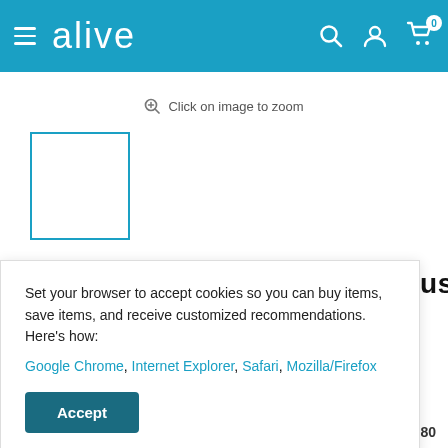alive — navigation header with hamburger menu, search, account, and cart icons (0 items)
Click on image to zoom
[Figure (other): Small product thumbnail placeholder square with blue border]
Jane Iredale Angle Definer Brush
Set your browser to accept cookies so you can buy items, save items, and receive customized recommendations. Here's how: Google Chrome, Internet Explorer, Safari, Mozilla/Firefox
Accept
payments of $10.80